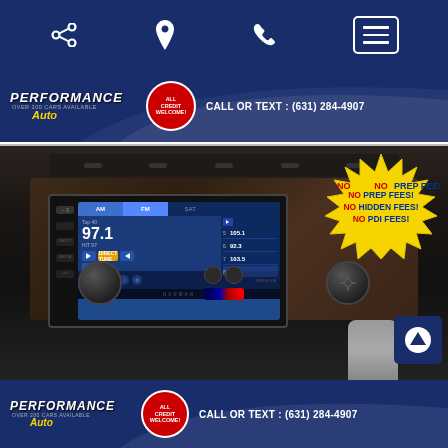[Figure (screenshot): Mobile app navigation bar with dark blue background showing share icon, location pin, phone icon, and hamburger menu button]
[Figure (photo): Performance Auto dealership banner with logo, ALL CREDIT WELCOME badge, and CALL OR TEXT: (631) 284-4907]
[Figure (photo): Car interior photo showing center console with touchscreen radio displaying FM 97.1 Top 40, HVAC controls, and gear shift. Overlaid starburst badge reading NO PREP FEES! NO HIDDEN FEES! NO PDI FEES!]
[Figure (photo): Performance Auto dealership banner repeated at bottom with logo, ALL CREDIT WELCOME badge, and CALL OR TEXT: (631) 284-4907]